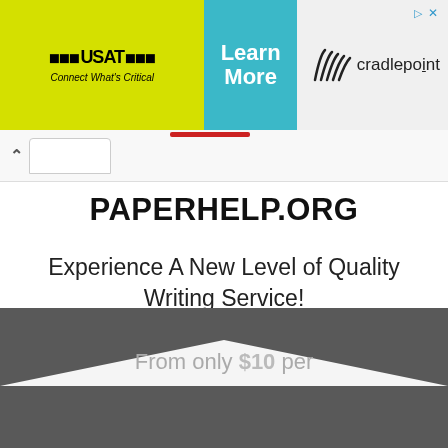[Figure (screenshot): Advertisement banner showing USAT and Cradlepoint logos with Learn More button in teal]
PAPERHELP.ORG
Experience A New Level of Quality Writing Service!
From only $10 per page